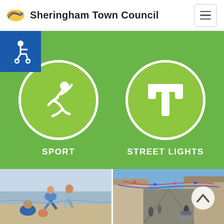Sheringham Town Council
[Figure (illustration): Accessibility wheelchair icon badge, blue background, top-left corner]
[Figure (infographic): Green circular icon with white running/sport figure symbol, labeled SPORT]
[Figure (infographic): Green circular icon with white street light / T-bar symbol, labeled STREET LIGHTS]
[Figure (photo): Photo of family (adults and children) on a beach, bending down in sand]
[Figure (photo): Photo of a town high street with bunting, shops, and a scroll-to-top button overlay]